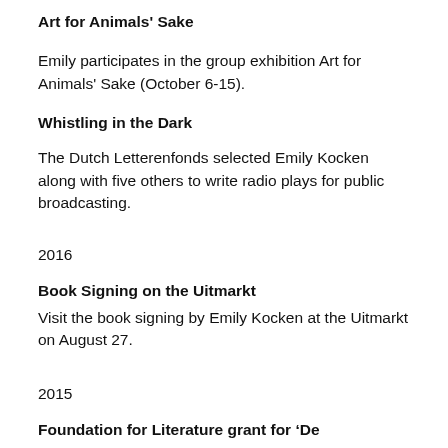Art for Animals' Sake
Emily participates in the group exhibition Art for Animals' Sake (October 6-15).
Whistling in the Dark
The Dutch Letterenfonds selected Emily Kocken along with five others to write radio plays for public broadcasting.
2016
Book Signing on the Uitmarkt
Visit the book signing by Emily Kocken at the Uitmarkt on August 27.
2015
Foundation for Literature grant for ‘De